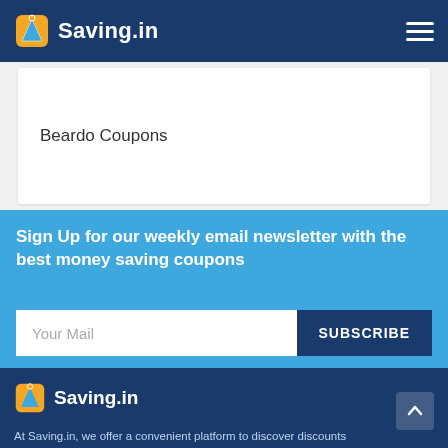Saving.in
Beardo Coupons
Sign Up for our weekly email newsletter with the best money saving coupons
Your Mail
SUBSCRIBE
Saving.in — At Saving.in, we offer a convenient platform to discover discounts